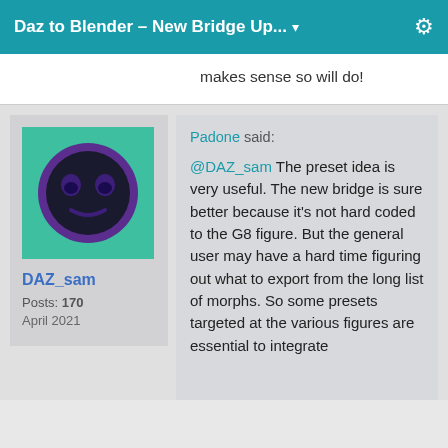Daz to Blender – New Bridge Up... ▾
makes sense so will do!
[Figure (illustration): User avatar for DAZ_sam: a dark circular smiley face with purple ring on a teal/green background square]
DAZ_sam
Posts: 170
April 2021
Padone said:
@DAZ_sam The preset idea is very useful. The new bridge is sure better because it's not hard coded to the G8 figure. But the general user may have a hard time figuring out what to export from the long list of morphs. So some presets targeted at the various figures are essential to integrate